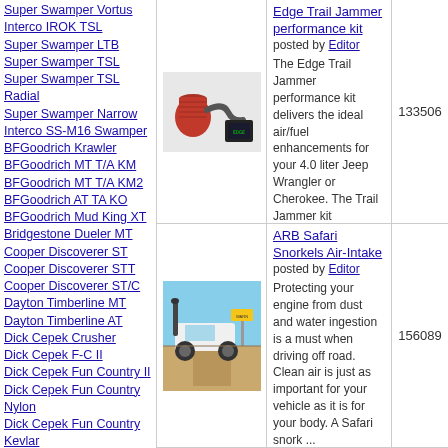Super Swamper Vortus
Interco IROK TSL
Super Swamper LTB
Super Swamper TSL
Super Swamper TSL Radial
Super Swamper Narrow
Interco SS-M16 Swamper
BFGoodrich Krawler
BFGoodrich MT T/A KM
BFGoodrich MT T/A KM2
BFGoodrich AT TA KO
BFGoodrich Mud King XT
Bridgestone Dueler MT
Cooper Discoverer ST
Cooper Discoverer STT
Cooper Discoverer ST/C
Dayton Timberline MT
Dayton Timberline AT
Dick Cepek Crusher
Dick Cepek F-C II
Dick Cepek Fun Country II
Dick Cepek Fun Country Nylon
Dick Cepek Fun Country Kevlar
Dick Cepek Mud Country
Dunlop Mud Rover
Federal Couragia MT
Firestone Destination AT
Firestone Destination MT
General Grabber MT
General Grabber AT2
Green Diamond Icelander
[Figure (photo): Photo of an Edge Trail Jammer performance kit (air intake and tuner components)]
The Edge Trail Jammer performance kit delivers the ideal air/fuel enhancements for your 4.0 liter Jeep Wrangler or Cherokee. The Trail Jammer kit dramatically improves the pow ...
133506
ARB Safari Snorkels Air-Intake
posted by Editor
[Figure (photo): Photo of a white Jeep with ARB Safari snorkel on a dirt road]
Protecting your engine from dust and water ingestion is a must when driving off road. Clean air is just as important for your vehicle as it is for your body. A Safari snork ...
156089